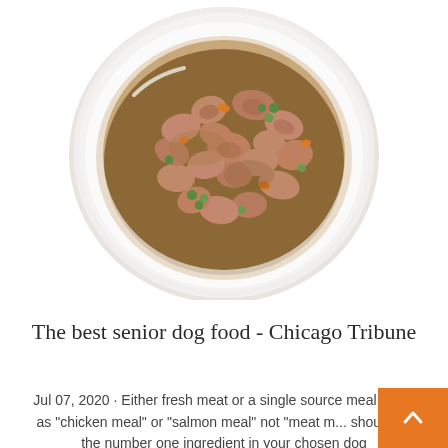[Figure (photo): Top-down view of a white ceramic bowl filled with wet dog food: chunks of meat in brown gravy with peas and carrots visible, on a white background.]
The best senior dog food - Chicago Tribune
Jul 07, 2020 · Either fresh meat or a single source meal (such as "chicken meal" or "salmon meal" not "meat m... should be the number one ingredient in your chosen dog